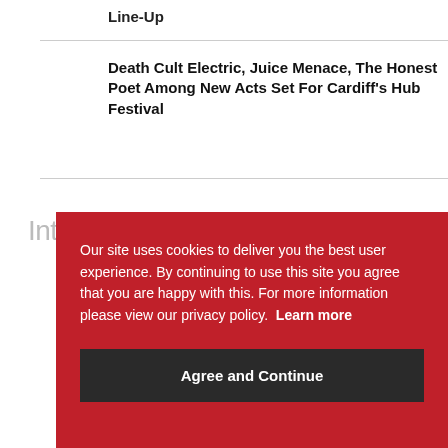Line-Up
Death Cult Electric, Juice Menace, The Honest Poet Among New Acts Set For Cardiff's Hub Festival
Int
Our site uses cookies to deliver you the best user experience. By continuing to use this site you agree that you are happy with this. For more information please view our privacy policy. Learn more
Agree and Continue